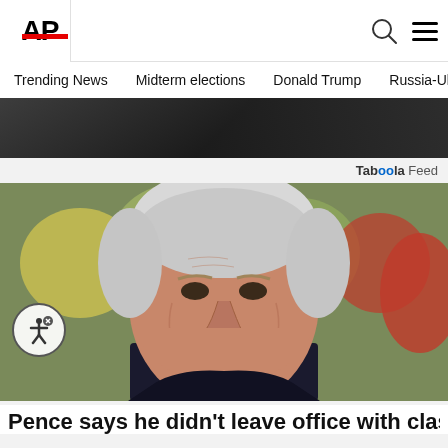AP
Trending News  Midterm elections  Donald Trump  Russia-Ukr
[Figure (photo): Dark/blurred top image strip showing partial figure]
Taboola Feed
[Figure (photo): Close-up photo of Mike Pence speaking outdoors, wearing dark jacket, with blurred colorful background]
Pence says he didn't leave office with classified